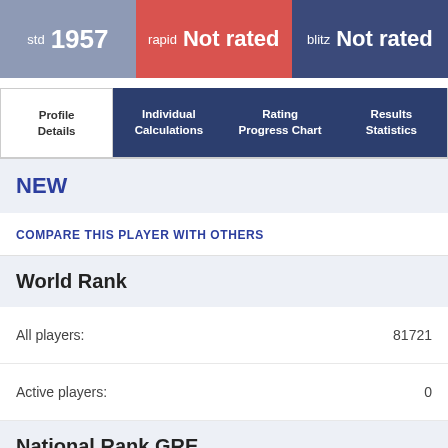std 1957 | rapid Not rated | blitz Not rated
Profile Details | Individual Calculations | Rating Progress Chart | Results Statistics
NEW
COMPARE THIS PLAYER WITH OTHERS
World Rank
All players: 81721
Active players: 0
National Rank GRE